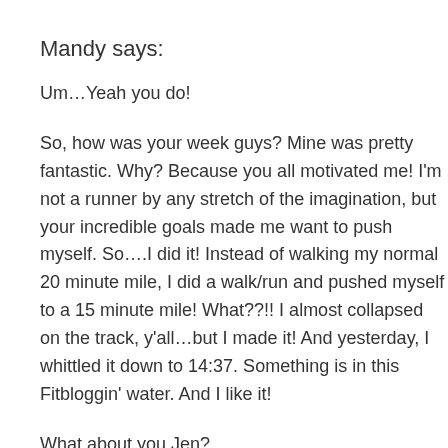Mandy says:
Um…Yeah you do!
So, how was your week guys? Mine was pretty fantastic. Why? Because you all motivated me! I'm not a runner by any stretch of the imagination, but your incredible goals made me want to push myself. So….I did it! Instead of walking my normal 20 minute mile, I did a walk/run and pushed myself to a 15 minute mile! What??!! I almost collapsed on the track, y'all…but I made it! And yesterday, I whittled it down to 14:37. Something is in this Fitbloggin' water. And I like it!
What about you Jen?
Jen says: